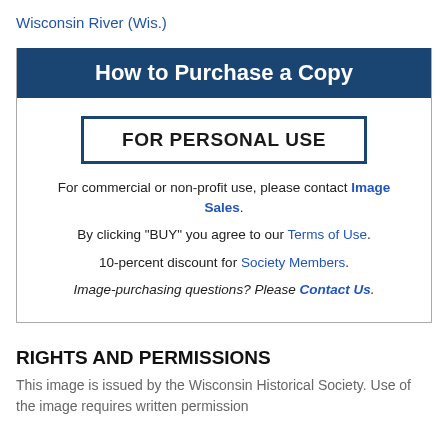Wisconsin River (Wis.)
How to Purchase a Copy
FOR PERSONAL USE
For commercial or non-profit use, please contact Image Sales.
By clicking "BUY" you agree to our Terms of Use.
10-percent discount for Society Members.
Image-purchasing questions? Please Contact Us.
RIGHTS AND PERMISSIONS
This image is issued by the Wisconsin Historical Society. Use of the image requires written permission